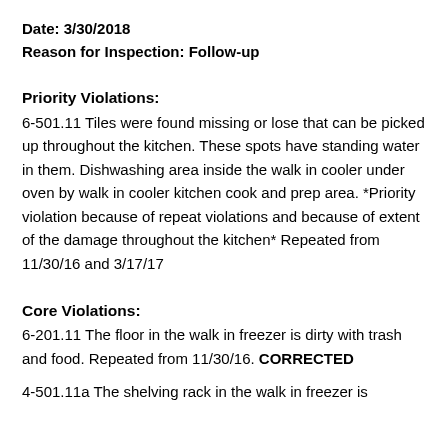Date: 3/30/2018
Reason for Inspection: Follow-up
Priority Violations:
6-501.11 Tiles were found missing or lose that can be picked up throughout the kitchen. These spots have standing water in them. Dishwashing area inside the walk in cooler under oven by walk in cooler kitchen cook and prep area. *Priority violation because of repeat violations and because of extent of the damage throughout the kitchen* Repeated from 11/30/16 and 3/17/17
Core Violations:
6-201.11 The floor in the walk in freezer is dirty with trash and food. Repeated from 11/30/16. CORRECTED
4-501.11a The shelving rack in the walk in freezer is